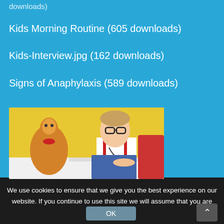downloads)
Kids Morning Routine (605 downloads)
Kids-Interview.jpg (162 downloads)
Signs of Anaphylaxis (589 downloads)
[Figure (photo): A young child wearing glasses, a white coat, and red suspenders, sitting at a white table writing on a clipboard. A stuffed giraffe toy sits beside them. Yellow wall in background.]
We use cookies to ensure that we give you the best experience on our website. If you continue to use this site we will assume that you are happy with it.